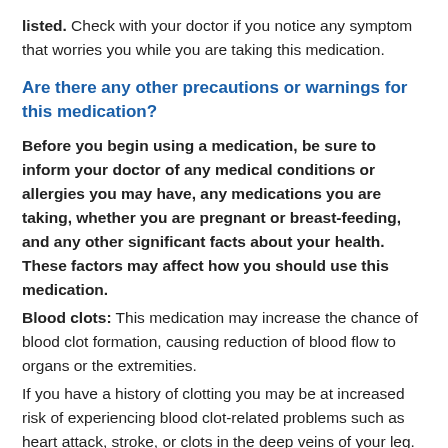listed. Check with your doctor if you notice any symptom that worries you while you are taking this medication.
Are there any other precautions or warnings for this medication?
Before you begin using a medication, be sure to inform your doctor of any medical conditions or allergies you may have, any medications you are taking, whether you are pregnant or breast-feeding, and any other significant facts about your health. These factors may affect how you should use this medication.
Blood clots: This medication may increase the chance of blood clot formation, causing reduction of blood flow to organs or the extremities.
If you have a history of clotting you may be at increased risk of experiencing blood clot-related problems such as heart attack, stroke, or clots in the deep veins of your leg. Discuss with your doctor how this medication may affect your medical condition,